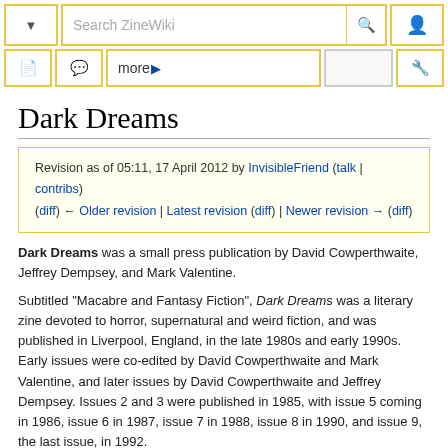Search ZineWiki
Revision as of 05:11, 17 April 2012 by InvisibleFriend (talk | contribs)
(diff) ← Older revision | Latest revision (diff) | Newer revision → (diff)
Dark Dreams
Dark Dreams was a small press publication by David Cowperthwaite, Jeffrey Dempsey, and Mark Valentine.
Subtitled "Macabre and Fantasy Fiction", Dark Dreams was a literary zine devoted to horror, supernatural and weird fiction, and was published in Liverpool, England, in the late 1980s and early 1990s. Early issues were co-edited by David Cowperthwaite and Mark Valentine, and later issues by David Cowperthwaite and Jeffrey Dempsey. Issues 2 and 3 were published in 1985, with issue 5 coming in 1986, issue 6 in 1987, issue 7 in 1988, issue 8 in 1990, and issue 9, the last issue, in 1992.
Contributors of fiction include Graham Andrews, Chris Barnham, Peter Bayliss, Ruskin Bond, Russell Flinn, Malcolm Furnass, Dallas Clive Goffin, Peter A. Hough, Nic Howard, Roger Johnson, Rick Kennett, A.F. Kidd (Picatrix), Joel Lane, D.F. Lewis (Nemonymous), Alan J. Lear, David